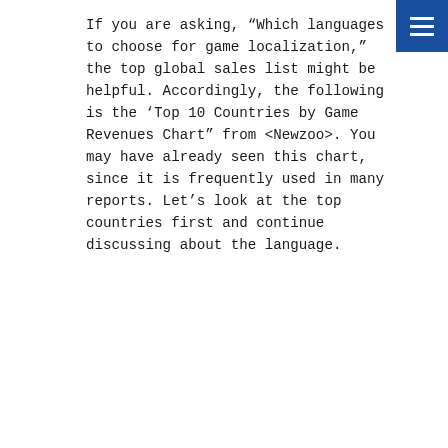If you are asking, “Which languages to choose for game localization,” the top global sales list might be helpful. Accordingly, the following is the ‘Top 10 Countries by Game Revenues Chart” from <Newzoo>. You may have already seen this chart, since it is frequently used in many reports. Let’s look at the top countries first and continue discussing about the language.